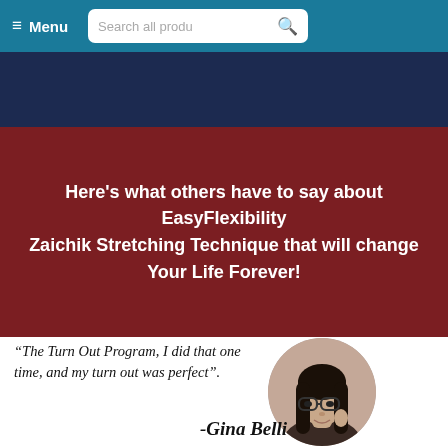≡ Menu  Search all produ 🔍
Here's what others have to say about EasyFlexibility Zaichik Stretching Technique that will change Your Life Forever!
“The Turn Out Program, I did that one time, and my turn out was perfect”.
[Figure (photo): Circular portrait photo of Gina Belli, a woman with long dark hair and glasses]
-Gina Belli